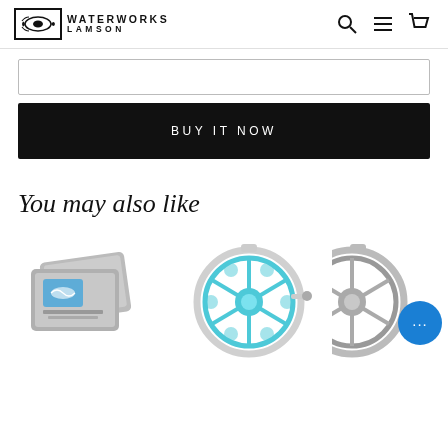Waterworks Lamson
BUY IT NOW
You may also like
[Figure (photo): Three product thumbnails: Waterworks Lamson sticker/patch set (gray cards with fish logo), a blue and silver fly fishing reel, and a gray fly fishing reel partially visible. A blue chat bubble with ellipsis icon overlays the third product.]